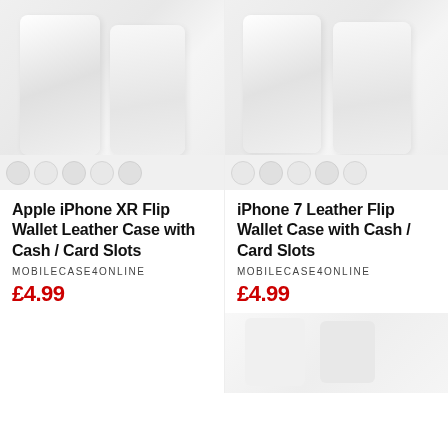[Figure (photo): Product image of Apple iPhone XR Flip Wallet Leather Case with color swatches at bottom]
[Figure (photo): Product image of iPhone 7 Leather Flip Wallet Case with color swatches at bottom]
Apple iPhone XR Flip Wallet Leather Case with Cash / Card Slots
MOBILECASE4ONLINE
£4.99
iPhone 7 Leather Flip Wallet Case with Cash / Card Slots
MOBILECASE4ONLINE
£4.99
[Figure (photo): Partial product image at bottom right]